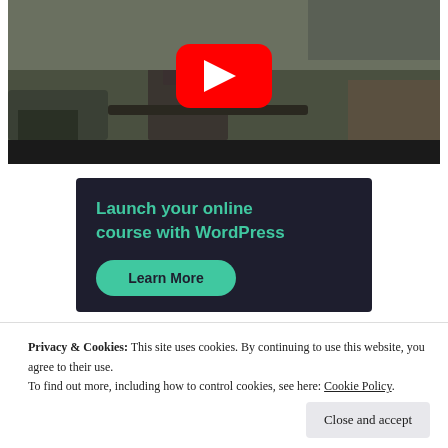[Figure (screenshot): YouTube video thumbnail showing a soldier in combat scene with red YouTube play button overlay and black bottom bar]
[Figure (screenshot): Advertisement banner with dark background reading 'Launch your online course with WordPress' with a teal 'Learn More' button]
Privacy & Cookies: This site uses cookies. By continuing to use this website, you agree to their use.
To find out more, including how to control cookies, see here: Cookie Policy
Close and accept